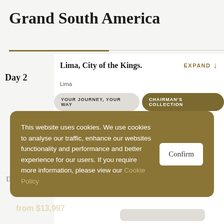Grand South America
Lima, City of the Kings.
Lima
YOUR JOURNEY, YOUR WAY
CHAIRMAN'S COLLECTION
This website uses cookies. We use cookies to analyse our traffic, enhance our websites functionality and performance and better experience for our users. If you require more information, please view our Cookie Policy
Confirm